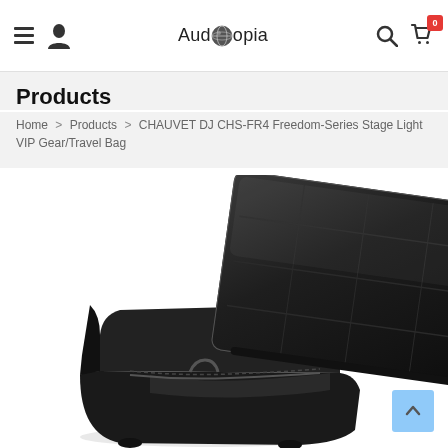Auditopia — navigation bar with hamburger menu, user icon, logo, search icon, cart icon with badge 0
Products
Home > Products > CHAUVET DJ CHS-FR4 Freedom-Series Stage Light VIP Gear/Travel Bag
[Figure (photo): Black travel/gear bag (CHAUVET DJ CHS-FR4 VIP Gear/Travel Bag) shown open with padded lid flap raised, photographed on white background]